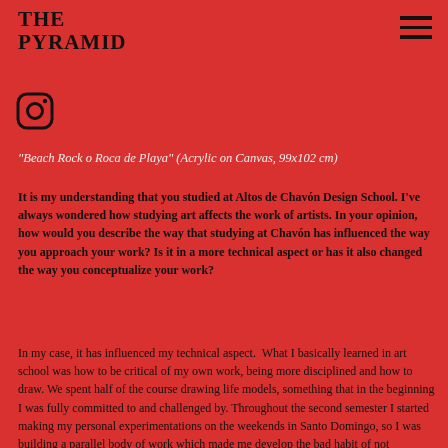THE PYRAMID
[Figure (logo): Instagram icon (circle with camera outline)]
"Beach Rock o Roca de Playa" (Acrylic on Canvas, 99x102 cm)
It is my understanding that you studied at Altos de Chavón Design School. I've always wondered how studying art affects the work of artists. In your opinion, how would you describe the way that studying at Chavón has influenced the way you approach your work? Is it in a more technical aspect or has it also changed the way you conceptualize your work?
In my case, it has influenced my technical aspect.  What I basically learned in art school was how to be critical of my own work, being more disciplined and how to draw. We spent half of the course drawing life models, something that in the beginning I was fully committed to and challenged by. Throughout the second semester I started making my personal experimentations on the weekends in Santo Domingo, so I was building a parallel body of work which made me develop the bad habit of not following the assignments on the school.  I started discovering new things and realized that this was an art school, where in the end grades didn't matter. Even